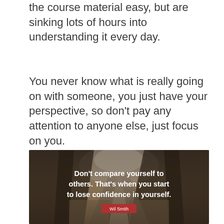the course material easy, but are sinking lots of hours into understanding it every day.
You never know what is really going on with someone, you just have your perspective, so don't pay any attention to anyone else, just focus on you.
[Figure (photo): A road flanked by tall trees and dry grass converging toward a misty horizon. Overlaid white bold text reads: Don't compare yourself to others. That's when you start to lose confidence in yourself. A small red label at the bottom reads: Wil Smith]